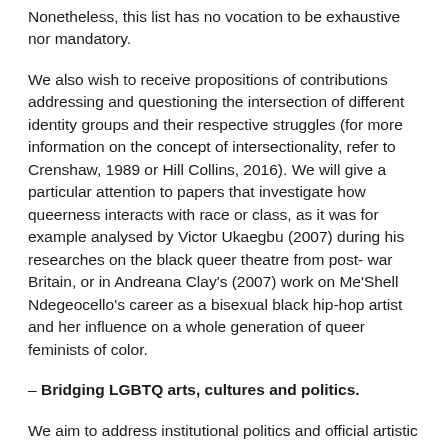Nonetheless, this list has no vocation to be exhaustive nor mandatory.
We also wish to receive propositions of contributions addressing and questioning the intersection of different identity groups and their respective struggles (for more information on the concept of intersectionality, refer to Crenshaw, 1989 or Hill Collins, 2016). We will give a particular attention to papers that investigate how queerness interacts with race or class, as it was for example analysed by Victor Ukaegbu (2007) during his researches on the black queer theatre from post- war Britain, or in Andreana Clay's (2007) work on Me'Shell Ndegeocello's career as a bisexual black hip-hop artist and her influence on a whole generation of queer feminists of color.
– Bridging LGBTQ arts, cultures and politics.
We aim to address institutional politics and official artistic